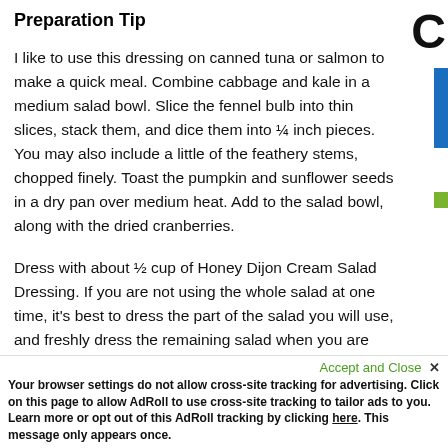Preparation Tip
I like to use this dressing on canned tuna or salmon to make a quick meal. Combine cabbage and kale in a medium salad bowl. Slice the fennel bulb into thin slices, stack them, and dice them into ¼ inch pieces. You may also include a little of the feathery stems, chopped finely. Toast the pumpkin and sunflower seeds in a dry pan over medium heat. Add to the salad bowl, along with the dried cranberries.
Dress with about ½ cup of Honey Dijon Cream Salad Dressing. If you are not using the whole salad at one time, it's best to dress the part of the salad you will use, and freshly dress the remaining salad when you are read to eat it.
Accept and Close ✕
Your browser settings do not allow cross-site tracking for advertising. Click on this page to allow AdRoll to use cross-site tracking to tailor ads to you. Learn more or opt out of this AdRoll tracking by clicking here. This message only appears once.